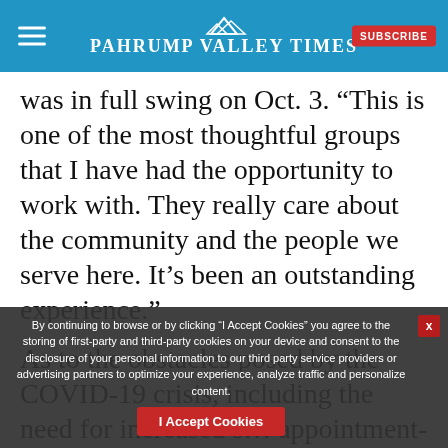Pahrump Valley Times
was in full swing on Oct. 3. “This is one of the most thoughtful groups that I have had the opportunity to work with. They really care about the community and the people we serve here. It’s been an outstanding experience.”
As to the obstacles posed by the COVID-19 crisis, including the need for increased s… appointment-o… Hutchins said he felt proud of … everything had
By continuing to browse or by clicking “I Accept Cookies” you agree to the storing of first-party and third-party cookies on your device and consent to the disclosure of your personal information to our third party service providers or advertising partners to optimize your experience, analyze traffic and personalize content.